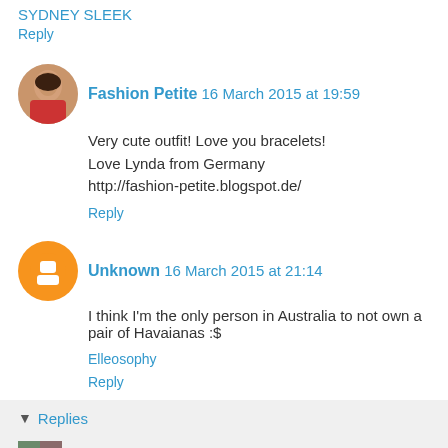SYDNEY SLEEK
Reply
Fashion Petite  16 March 2015 at 19:59
Very cute outfit! Love you bracelets!
Love Lynda from Germany
http://fashion-petite.blogspot.de/
Reply
Unknown  16 March 2015 at 21:14
I think I'm the only person in Australia to not own a pair of Havaianas :$
Elleosophy
Reply
Replies
Mica  17 March 2015 at 08:04